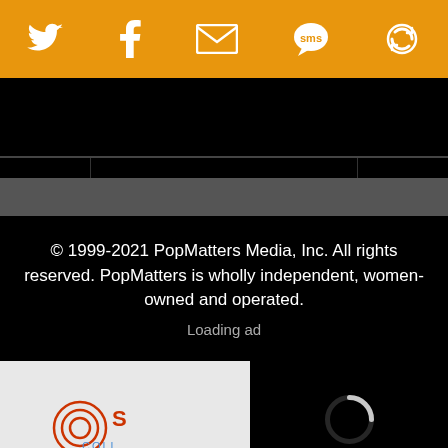[Figure (screenshot): Orange social media sharing bar with Twitter, Facebook, email, SMS, and refresh/share icons in white]
[Figure (screenshot): Black navigation bar with hamburger menu icon in center and search icon on the right]
© 1999-2021 PopMatters Media, Inc. All rights reserved. PopMatters is wholly independent, women-owned and operated.
Loading ad
[Figure (screenshot): Partial advertisement showing a logo with 'S' and 'COLL' text on white background, overlaid by a black video player panel with a loading spinner and video controls (pause, fullscreen, mute)]
[Figure (screenshot): Bottom ad banner: SnackTime Smiles from Wegmans advertisement with orange logo, title text and blue navigation arrow]